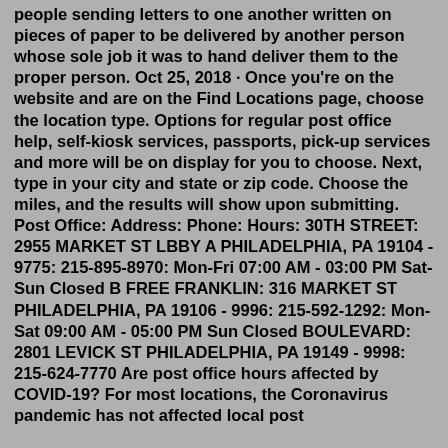people sending letters to one another written on pieces of paper to be delivered by another person whose sole job it was to hand deliver them to the proper person. Oct 25, 2018 · Once you're on the website and are on the Find Locations page, choose the location type. Options for regular post office help, self-kiosk services, passports, pick-up services and more will be on display for you to choose. Next, type in your city and state or zip code. Choose the miles, and the results will show upon submitting. Post Office: Address: Phone: Hours: 30TH STREET: 2955 MARKET ST LBBY A PHILADELPHIA, PA 19104 - 9775: 215-895-8970: Mon-Fri 07:00 AM - 03:00 PM Sat-Sun Closed B FREE FRANKLIN: 316 MARKET ST PHILADELPHIA, PA 19106 - 9996: 215-592-1292: Mon-Sat 09:00 AM - 05:00 PM Sun Closed BOULEVARD: 2801 LEVICK ST PHILADELPHIA, PA 19149 - 9998: 215-624-7770 Are post office hours affected by COVID-19? For most locations, the Coronavirus pandemic has not affected local post